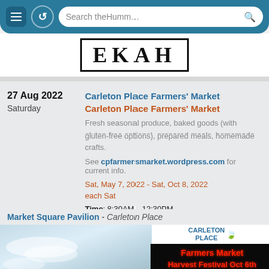[Figure (screenshot): Mobile browser search bar with hamburger menu, refresh icon, and search field showing 'Search theHumm...']
[Figure (logo): Partial newspaper/publication logo showing bold serif text in a rectangular border, partially visible]
27 Aug 2022
Saturday

Carleton Place Farmers' Market
Carleton Place Farmers' Market
Fresh seasonal produce, baked goods (with gluten-free options), prepared meals, homemade crafts.
See cpfarmersmarket.wordpress.com for current info.
Sat, May 7, 2022 - Sat, Oct 8, 2022
each Sat
Time: 8:30AM - 12:30PM
Market Square Pavilion - Carleton Place
[Figure (photo): Photo of a Carleton Place Farmers Market LED sign showing 'Farmers Market Harvest Festival Oct 6th' in red LED lights, with sky background]